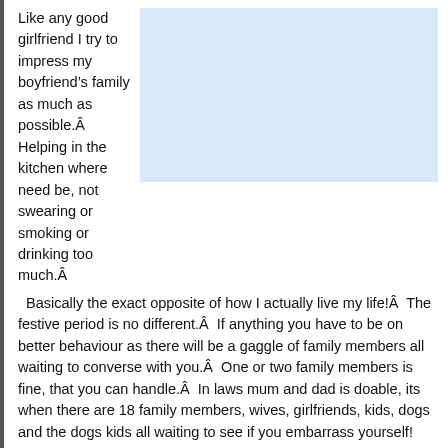Like any good girlfriend I try to impress my boyfriend's family as much as possible.  Helping in the kitchen where need be, not swearing or smoking or drinking too much.  Basically the exact opposite of how I actually live my life!  The festive period is no different.  If anything you have to be on better behaviour as there will be a gaggle of family members all waiting to converse with you.  One or two family members is fine, that you can handle.  In laws mum and dad is doable, its when there are 18 family members, wives, girlfriends, kids, dogs and the dogs kids all waiting to see if you embarrass yourself!
[Figure (photo): A light blue rectangular image placeholder occupying the upper right portion of the page.]